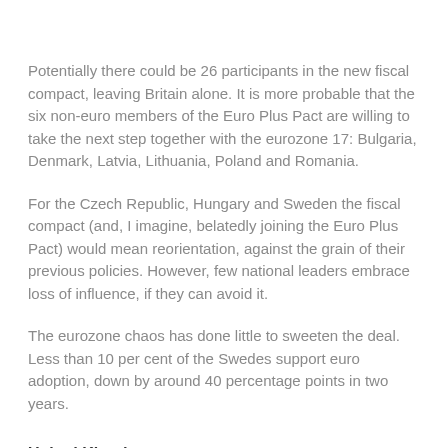Potentially there could be 26 participants in the new fiscal compact, leaving Britain alone. It is more probable that the six non-euro members of the Euro Plus Pact are willing to take the next step together with the eurozone 17: Bulgaria, Denmark, Latvia, Lithuania, Poland and Romania.
For the Czech Republic, Hungary and Sweden the fiscal compact (and, I imagine, belatedly joining the Euro Plus Pact) would mean reorientation, against the grain of their previous policies. However, few national leaders embrace loss of influence, if they can avoid it.
The eurozone chaos has done little to sweeten the deal. Less than 10 per cent of the Swedes support euro adoption, down by around 40 percentage points in two years.
United Kingdom